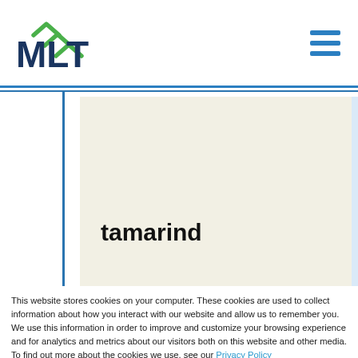[Figure (logo): MLT logo with green arrow marks above the letters and blue text MLT]
[Figure (other): Hamburger menu icon (three horizontal blue bars)]
tamarind
This website stores cookies on your computer. These cookies are used to collect information about how you interact with our website and allow us to remember you. We use this information in order to improve and customize your browsing experience and for analytics and metrics about our visitors both on this website and other media. To find out more about the cookies we use, see our Privacy Policy
Accept